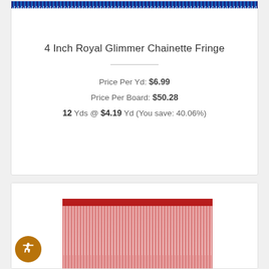[Figure (photo): Dark navy/blue chainette fringe trim shown at very top of card, cropped]
4 Inch Royal Glimmer Chainette Fringe
Price Per Yd: $6.99
Price Per Board: $50.28
12 Yds @ $4.19 Yd (You save: 40.06%)
[Figure (photo): Red/crimson metallic glimmer chainette fringe shown on bottom card, with accessibility icon in lower left]